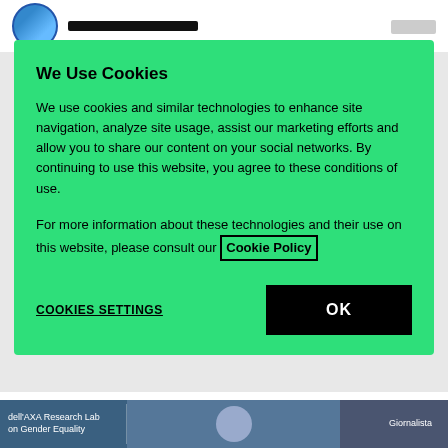[Figure (screenshot): Website navigation bar with circular logo and dark rectangular bar element]
We Use Cookies
We use cookies and similar technologies to enhance site navigation, analyze site usage, assist our marketing efforts and allow you to share our content on your social networks. By continuing to use this website, you agree to these conditions of use.
For more information about these technologies and their use on this website, please consult our Cookie Policy
COOKIES SETTINGS
OK
29.10.21
An innovative tool for promoting full gender equality
[Figure (screenshot): Bottom image strip showing dell'AXA Research Lab on Gender Equality text, a person, and Giornalista label]